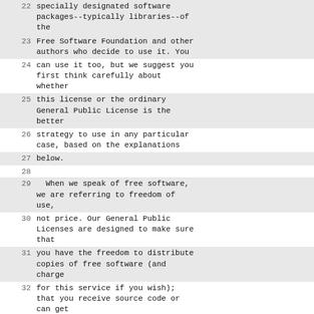22  specially designated software packages--typically libraries--of the
23  Free Software Foundation and other authors who decide to use it.  You
24  can use it too, but we suggest you first think carefully about whether
25  this license or the ordinary General Public License is the better
26  strategy to use in any particular case, based on the explanations
27  below.
28
29    When we speak of free software, we are referring to freedom of use,
30  not price.  Our General Public Licenses are designed to make sure that
31  you have the freedom to distribute copies of free software (and charge
32  for this service if you wish); that you receive source code or can get
33  it if you want it; that you can change the software and use pieces of